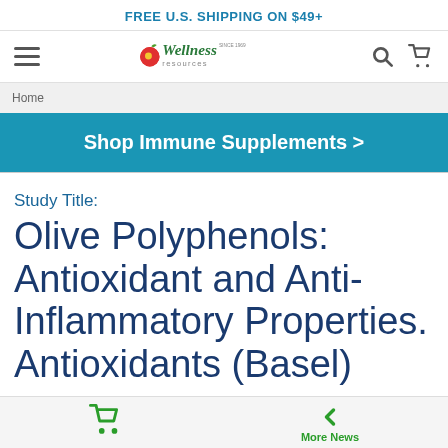FREE U.S. SHIPPING ON $49+
[Figure (logo): Wellness Resources logo with apple icon]
Home
Shop Immune Supplements >
Study Title: Olive Polyphenols: Antioxidant and Anti-Inflammatory Properties. Antioxidants (Basel)
More News